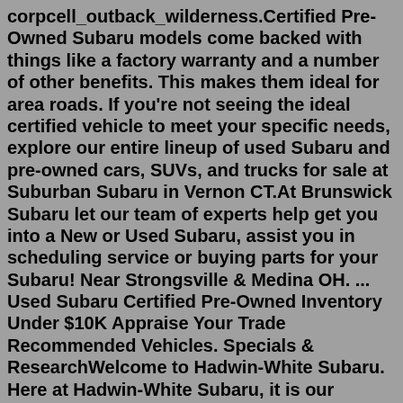corpcell_outback_wilderness.Certified Pre-Owned Subaru models come backed with things like a factory warranty and a number of other benefits. This makes them ideal for area roads. If you're not seeing the ideal certified vehicle to meet your specific needs, explore our entire lineup of used Subaru and pre-owned cars, SUVs, and trucks for sale at Suburban Subaru in Vernon CT.At Brunswick Subaru let our team of experts help get you into a New or Used Subaru, assist you in scheduling service or buying parts for your Subaru! Near Strongsville & Medina OH. ... Used Subaru Certified Pre-Owned Inventory Under $10K Appraise Your Trade Recommended Vehicles. Specials & ResearchWelcome to Hadwin-White Subaru. Here at Hadwin-White Subaru, it is our mission to be the automotive home of drivers in the greater Myrtle Beach area. We provide a vast selection of new and used vehicles, exceptional car care and customer service with a smile! Speaking of new Subaru models, you have your pick of our showroom. You don't have to take our word for it.